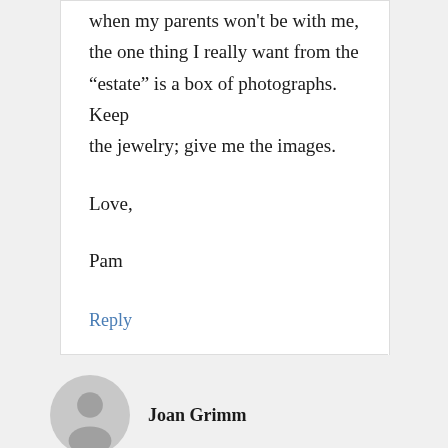when my parents won't be with me, the one thing I really want from the “estate” is a box of photographs. Keep the jewelry; give me the images.
Love,
Pam
Reply
Joan Grimm